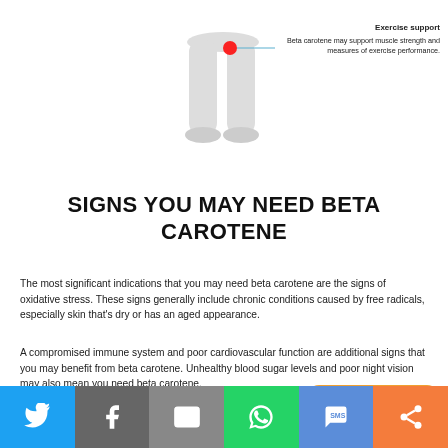[Figure (illustration): Partial human body silhouette (lower torso and legs) in light gray with a red dot/highlight near the upper thigh/hip area, and a horizontal teal connector line pointing to the Exercise support label on the right side.]
Exercise support
Beta carotene may support muscle strength and measures of exercise performance.
SIGNS YOU MAY NEED BETA CAROTENE
The most significant indications that you may need beta carotene are the signs of oxidative stress. These signs generally include chronic conditions caused by free radicals, especially skin that's dry or has an aged appearance.
A compromised immune system and poor cardiovascular function are additional signs that you may benefit from beta carotene. Unhealthy blood sugar levels and poor night vision may also mean you need beta carotene.
OTHER INGREDIENT
[Figure (infographic): Orange rounded button/badge with text 'Questions ?' in italic white serif font]
[Figure (infographic): Social sharing bar at the bottom with six colored buttons: Twitter (blue), Facebook (gray), Email (gray), WhatsApp (green), SMS (blue), and another sharing option (orange)]